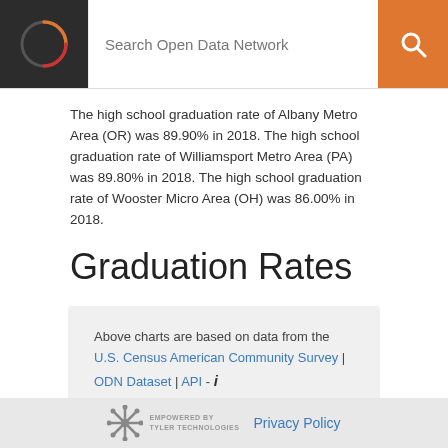Search Open Data Network
The high school graduation rate of Albany Metro Area (OR) was 89.90% in 2018. The high school graduation rate of Williamsport Metro Area (PA) was 89.80% in 2018. The high school graduation rate of Wooster Micro Area (OH) was 86.00% in 2018.
Graduation Rates
Above charts are based on data from the U.S. Census American Community Survey | ODN Dataset | API -
EMPOWERED BY TYLER TECHNOLOGIES   Privacy Policy